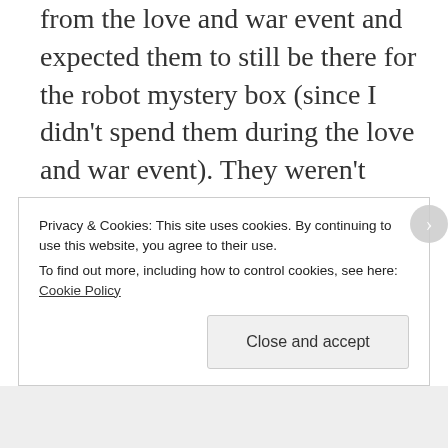from the love and war event and expected them to still be there for the robot mystery box (since I didn't spend them during the love and war event). They weren't there so I contacted EA about it and after 60 minutes on the phone, they told me that they couldn't do anything about it and gave me 100 •donuts after I wouldn't
Privacy & Cookies: This site uses cookies. By continuing to use this website, you agree to their use. To find out more, including how to control cookies, see here: Cookie Policy
Close and accept